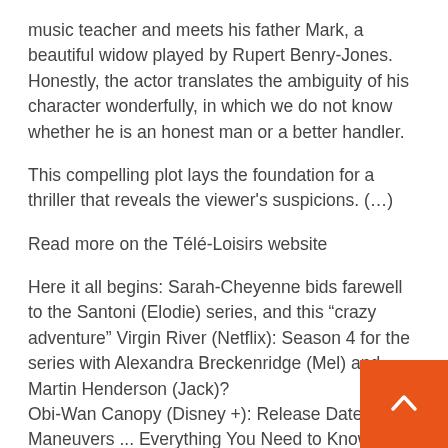music teacher and meets his father Mark, a beautiful widow played by Rupert Benry-Jones. Honestly, the actor translates the ambiguity of his character wonderfully, in which we do not know whether he is an honest man or a better handler.
This compelling plot lays the foundation for a thriller that reveals the viewer's suspicions. (…)
Read more on the Télé-Loisirs website
Here it all begins: Sarah-Cheyenne bids farewell to the Santoni (Elodie) series, and this “crazy adventure” Virgin River (Netflix): Season 4 for the series with Alexandra Breckenridge (Mel) and Martin Henderson (Jack)? Obi-Wan Canopy (Disney +): Release Date, Cast, Maneuvers ... Everything You Need to Know About the
[Figure (other): Orange scroll-to-top button with upward chevron arrow in bottom-right corner]